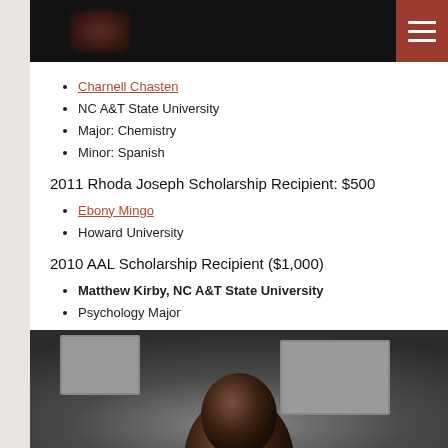[Navigation bar with menu icon]
Charnell Chasten
NC A&T State University
Major: Chemistry
Minor: Spanish
2011 Rhoda Joseph Scholarship Recipient: $500
Ebony Mingo
Howard University
2010 AAL Scholarship Recipient ($1,000)
Matthew Kirby, NC A&T State University
Psychology Major
Spanish Minor
[Figure (photo): Portrait photograph of a person, partially visible at bottom of page]